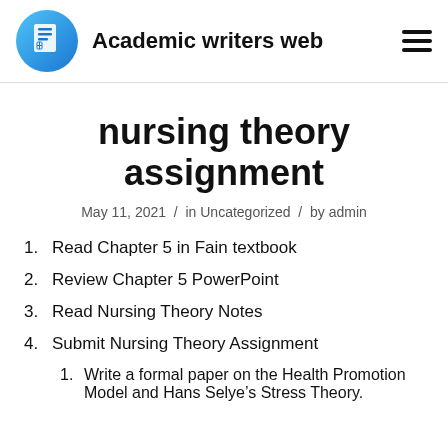Academic writers web
nursing theory assignment
May 11, 2021 / in Uncategorized / by admin
1. Read Chapter 5 in Fain textbook
2. Review Chapter 5 PowerPoint
3. Read Nursing Theory Notes
4. Submit Nursing Theory Assignment
1. Write a formal paper on the Health Promotion Model and Hans Selye’s Stress Theory.